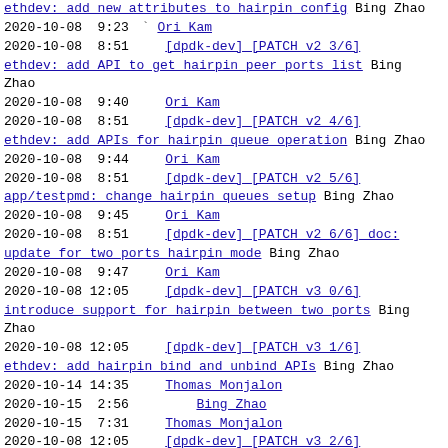ethdev: add new attributes to hairpin config Bing Zhao 2020-10-08 9:23 Ori Kam
2020-10-08 8:51 [dpdk-dev] [PATCH v2 3/6] ethdev: add API to get hairpin peer ports list Bing Zhao 2020-10-08 9:40 Ori Kam
2020-10-08 8:51 [dpdk-dev] [PATCH v2 4/6] ethdev: add APIs for hairpin queue operation Bing Zhao 2020-10-08 9:44 Ori Kam
2020-10-08 8:51 [dpdk-dev] [PATCH v2 5/6] app/testpmd: change hairpin queues setup Bing Zhao 2020-10-08 9:45 Ori Kam
2020-10-08 8:51 [dpdk-dev] [PATCH v2 6/6] doc: update for two ports hairpin mode Bing Zhao 2020-10-08 9:47 Ori Kam
2020-10-08 12:05 [dpdk-dev] [PATCH v3 0/6] introduce support for hairpin between two ports Bing Zhao
2020-10-08 12:05 [dpdk-dev] [PATCH v3 1/6] ethdev: add hairpin bind and unbind APIs Bing Zhao 2020-10-14 14:35 Thomas Monjalon 2020-10-15 2:56 Bing Zhao 2020-10-15 7:31 Thomas Monjalon
2020-10-08 12:05 [dpdk-dev] [PATCH v3 2/6] ethdev: add new attributes to hairpin config Bing Zhao 2020-10-12 21:37 Thomas Monjalon 2020-10-13 12:29 Bing Zhao 2020-10-13 12:41 Thomas Monjalon 2020-10-13 13:21 Bing Zhao
2020-10-08 12:05 [dpdk-dev] [PATCH v3 3/6]